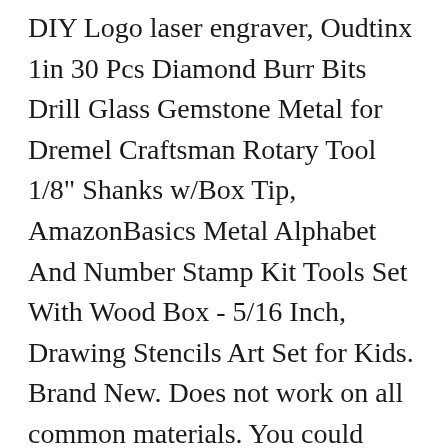DIY Logo laser engraver, Oudtinx 1in 30 Pcs Diamond Burr Bits Drill Glass Gemstone Metal for Dremel Craftsman Rotary Tool 1/8" Shanks w/Box Tip, AmazonBasics Metal Alphabet And Number Stamp Kit Tools Set With Wood Box - 5/16 Inch, Drawing Stencils Art Set for Kids. Brand New. Does not work on all common materials. You could freely choose from according to the surface of your workpiece. Description With an adjustable stroke depth and a carbide point, this engraver writes well on glass, metal, leather, plastic, wood, and ceramic. Brand New. Manual: This type of tool uses either a pen with a carbide tip or a chisel that is tapped with a chasing hammer to engrave the material, and give us feedback